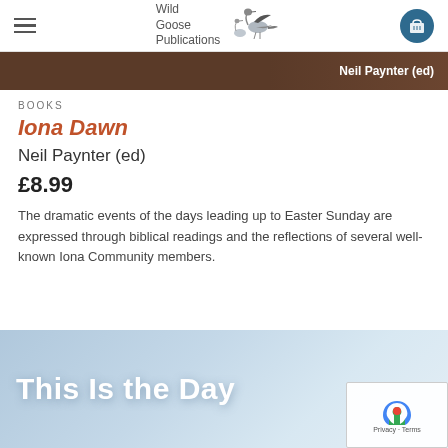Wild Goose Publications
[Figure (photo): Book cover banner showing dark brown background with text 'Neil Paynter (ed)' in white on the right side]
BOOKS
Iona Dawn
Neil Paynter (ed)
£8.99
The dramatic events of the days leading up to Easter Sunday are expressed through biblical readings and the reflections of several well-known Iona Community members.
[Figure (photo): Blue sky image with white text reading 'This Is the Day' partially visible, with reCAPTCHA overlay in bottom right corner]